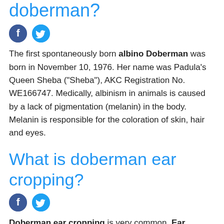doberman?
[Figure (other): Facebook and Twitter social share icons]
The first spontaneously born albino Doberman was born in November 10, 1976. Her name was Padula's Queen Sheba (“Sheba”), AKC Registration No. WE166747. Medically, albinism in animals is caused by a lack of pigmentation (melanin) in the body. Melanin is responsible for the coloration of skin, hair and eyes.
What is doberman ear cropping?
[Figure (other): Facebook and Twitter social share icons]
Doberman ear cropping is very common. Ear cropping is a surgical procedure in which a portion